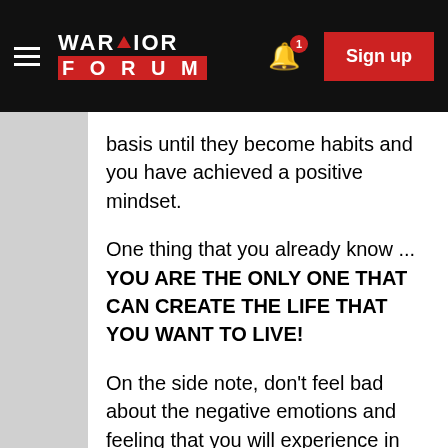WARRIOR FORUM | Sign up
basis until they become habits and you have achieved a positive mindset.
One thing that you already know ... YOU ARE THE ONLY ONE THAT CAN CREATE THE LIFE THAT YOU WANT TO LIVE!
On the side note, don't feel bad about the negative emotions and feeling that you will experience in this lifetime. You will not have pure positive